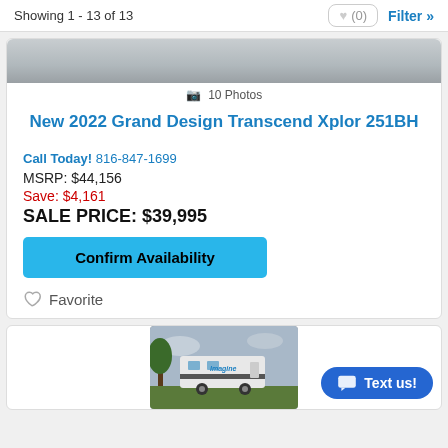Showing 1 - 13 of 13
10 Photos
New 2022 Grand Design Transcend Xplor 251BH
Call Today! 816-847-1699
MSRP: $44,156
Save: $4,161
SALE PRICE: $39,995
Confirm Availability
Favorite
[Figure (photo): Partial view of an RV trailer, likely Grand Design Imagine series]